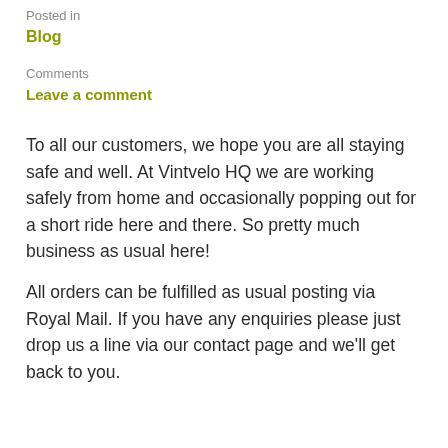Posted in
Blog
Comments
Leave a comment
To all our customers, we hope you are all staying safe and well. At Vintvelo HQ we are working safely from home and occasionally popping out for a short ride here and there. So pretty much business as usual here!
All orders can be fulfilled as usual posting via Royal Mail. If you have any enquiries please just drop us a line via our contact page and we'll get back to you.